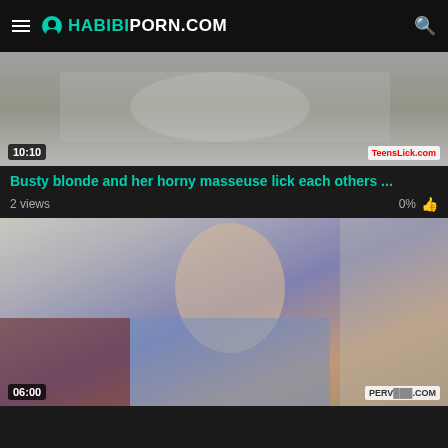HABIBIPORN.COM
[Figure (screenshot): Video thumbnail showing two people on a bed, duration badge 10:10, watermark TeensLick.com]
Busty blonde and her horny masseuse lick each others ...
2 views   0%
[Figure (screenshot): Video thumbnail showing a blonde woman in a blue satin shirt, duration badge 06:00, watermark PERV...COM]